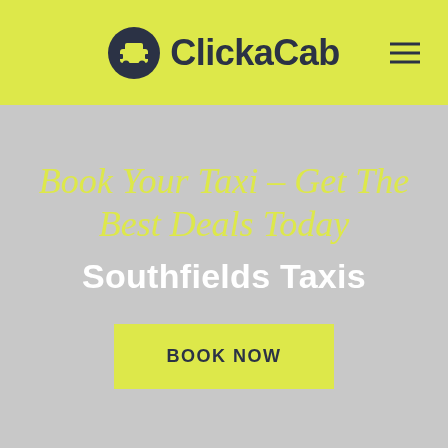ClickaCab
Book Your Taxi - Get The Best Deals Today
Southfields Taxis
BOOK NOW